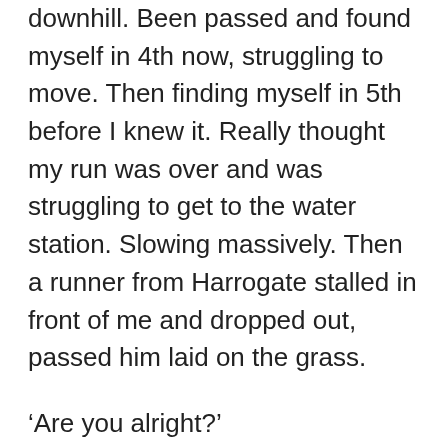downhill. Been passed and found myself in 4th now, struggling to move. Then finding myself in 5th before I knew it. Really thought my run was over and was struggling to get to the water station. Slowing massively. Then a runner from Harrogate stalled in front of me and dropped out, passed him laid on the grass.
‘Are you alright?’
‘Yea, I’m good, don’t worry about me’
He set off quick and was leading for a while. I was adamant I wasn’t going to go the same way. Water station down and threw it all over